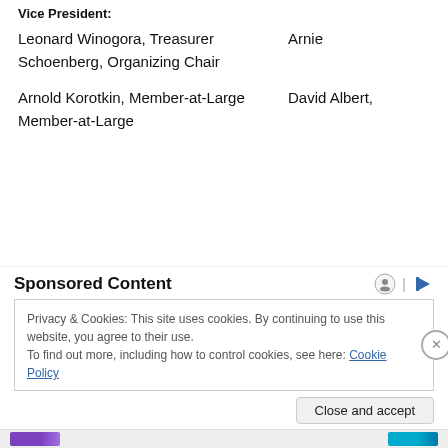Vice President:
Leonard Winogora, Treasurer    Arnie Schoenberg, Organizing Chair
Arnold Korotkin, Member-at-Large    David Albert, Member-at-Large
Sponsored Content
Privacy & Cookies: This site uses cookies. By continuing to use this website, you agree to their use.
To find out more, including how to control cookies, see here: Cookie Policy